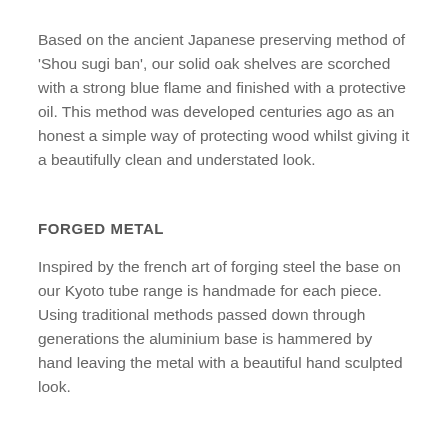Based on the ancient Japanese preserving method of 'Shou sugi ban', our solid oak shelves are scorched with a strong blue flame and finished with a protective oil. This method was developed centuries ago as an honest a simple way of protecting wood whilst giving it a beautifully clean and understated look.
FORGED METAL
Inspired by the french art of forging steel the base on our Kyoto tube range is handmade for each piece. Using traditional methods passed down through generations the aluminium base is hammered by hand leaving the metal with a beautiful hand sculpted look.